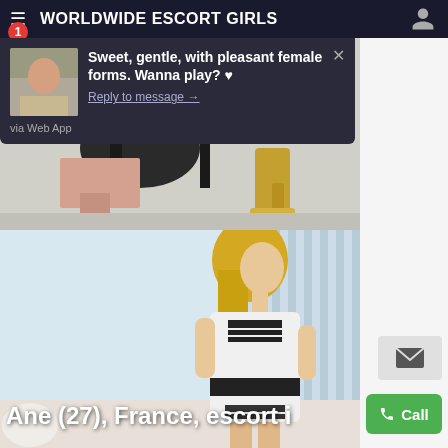WORLDWIDE ESCORT GIRLS
Sweet, gentle, with pleasant female forms. Wanna play? ♥
Reply to message →
via Web App
[Figure (photo): Partial photo showing legs/feet with gold high heels and a dark chair]
[Figure (photo): Young blonde woman in white and black dress posing indoors]
Ane (27), France, escort i